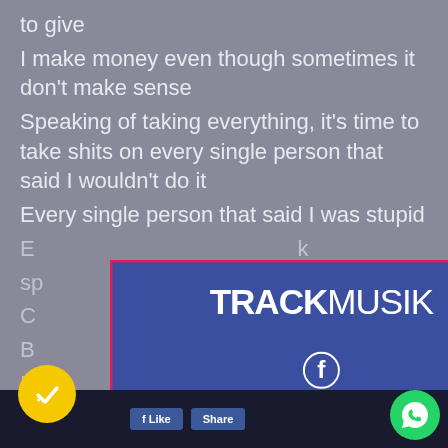to give
I make money even though sometimes it don't make sense
Speaking of taking everything, it's time to take shits on every single person that said I wouldn't do it
Every single person that said I was stupid
[Figure (screenshot): TRACKmusik popup modal with blue background, pink border, Facebook icon, and 'LIKE NOUS: @TrackmusikFr' text on a rotated dark banner. Red X close button in top right.]
[Figure (logo): Yellow circular checkmark button (bottom left) and green WhatsApp button (bottom right)]